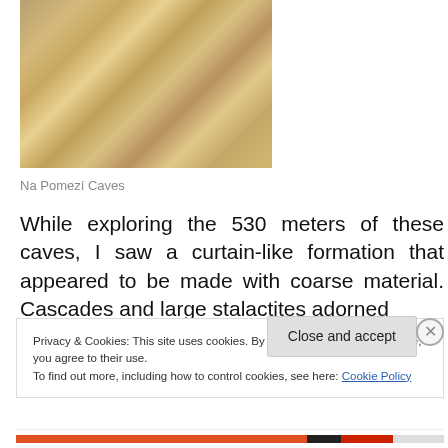[Figure (photo): Interior of Na Pomezí Caves showing stalactites and rock formations in warm beige and tan tones]
Na Pomezí Caves
While exploring the 530 meters of these caves, I saw a curtain-like formation that appeared to be made with coarse material. Cascades and large stalactites adorned
Privacy & Cookies: This site uses cookies. By continuing to use this website, you agree to their use.
To find out more, including how to control cookies, see here: Cookie Policy
Close and accept